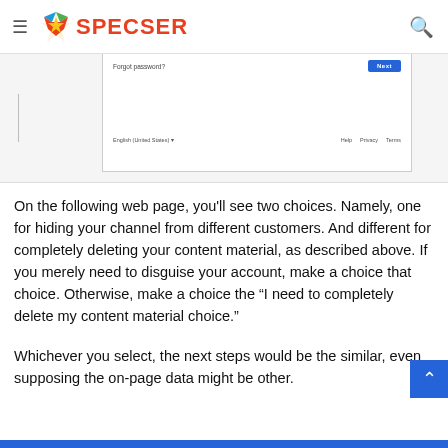SPECSER
[Figure (screenshot): Partial screenshot of a Google sign-in page showing 'Forgot password' text, a blue 'Next' button, and footer links for 'English (United States)', 'Help', 'Privacy', 'Terms'.]
On the following web page, you’ll see two choices. Namely, one for hiding your channel from different customers. And different for completely deleting your content material, as described above. If you merely need to disguise your account, make a choice that choice. Otherwise, make a choice the “I need to completely delete my content material choice.”
Whichever you select, the next steps would be the similar, even supposing the on-page data might be other.